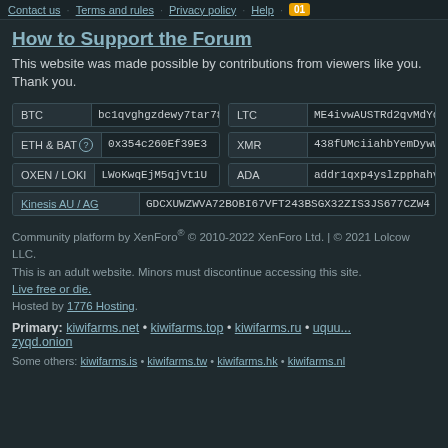Contact us · Terms and rules · Privacy policy · Help · 01
How to Support the Forum
This website was made possible by contributions from viewers like you. Thank you.
| Coin | Address |
| --- | --- |
| BTC | bc1qvghgzdewy7tar78uy |
| LTC | ME4ivwAUSTRd2qvMdYd1V |
| ETH & BAT | 0x354c260Ef39E3 |
| XMR | 438fUMciiahbYemDyww6a |
| OXEN / LOKI | LWoKwqEjM5qjVt1U |
| ADA | addr1qxp4yslzpphahvms |
| Kinesis AU / AG | GDCXUWZWVA72BOBI67VFT243BSGX32ZIS3JS677CZW4 |
Community platform by XenForo® © 2010-2022 XenForo Ltd. | © 2021 Lolcow LLC.
This is an adult website. Minors must discontinue accessing this site.
Live free or die.
Hosted by 1776 Hosting.
Primary: kiwifarms.net • kiwifarms.top • kiwifarms.ru • uquu...zyqd.onion
Some others: kiwifarms.is • kiwifarms.tw • kiwifarms.hk • kiwifarms.nl